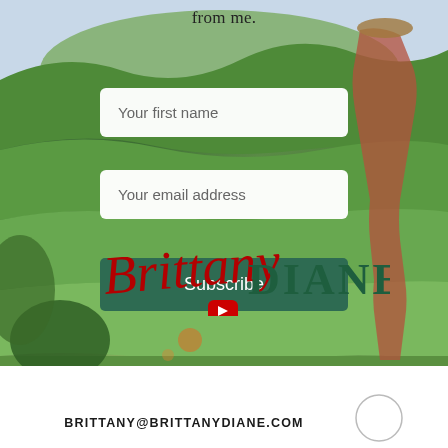from me.
[Figure (photo): Background photo of lush green rice terraces in Bali with a woman in a red dress standing on the right side]
Your first name
Your email address
Subscribe
[Figure (logo): Brittany Diane brand logo with script red 'Brittany' and bold green 'DIANE' text, with YouTube play button icon below]
BRITTANY@BRITTANYDIANE.COM